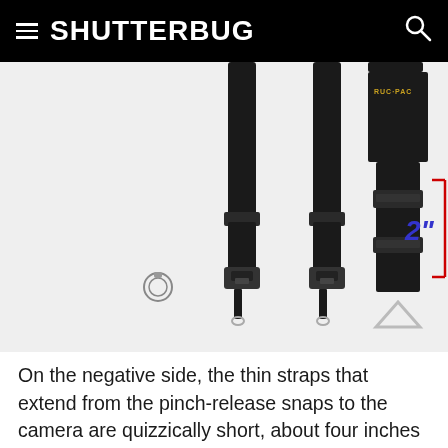SHUTTERBUG
[Figure (photo): Product photo of RUC-PAC camera straps showing three black straps with pinch-release snaps and a red bracket annotation indicating 2 inch width measurement]
On the negative side, the thin straps that extend from the pinch-release snaps to the camera are quizzically short, about four inches when extended and half of that when connected. Why so? Maybe it's just me, but I like to have more strap material to work with on the camera side. The other complaint I